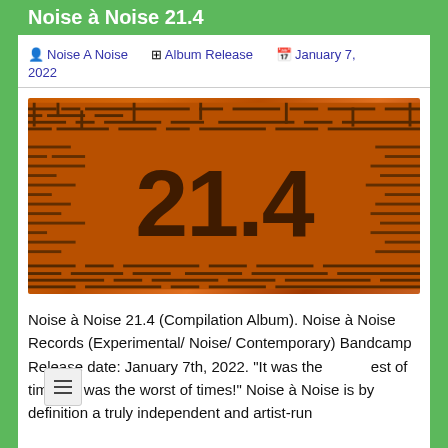Noise à Noise 21.4
👤 Noise A Noise  ⊞ Album Release  📅 January 7, 2022
[Figure (illustration): Album cover for Noise à Noise 21.4 — dark orange/brown background with maze-like circuit board pattern, large stylized '21.4' text in dark characters at center]
Noise à Noise 21.4 (Compilation Album). Noise à Noise Records (Experimental/ Noise/ Contemporary) Bandcamp Release date: January 7th, 2022. "It was the best of times, it was the worst of times!" Noise à Noise is by definition a truly independent and artist-run